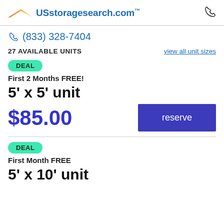USstoragesearch.com
(833) 328-7404
27 AVAILABLE UNITS
view all unit sizes
DEAL
First 2 Months FREE!
5' x 5' unit
$85.00
reserve
DEAL
First Month FREE
5' x 10' unit